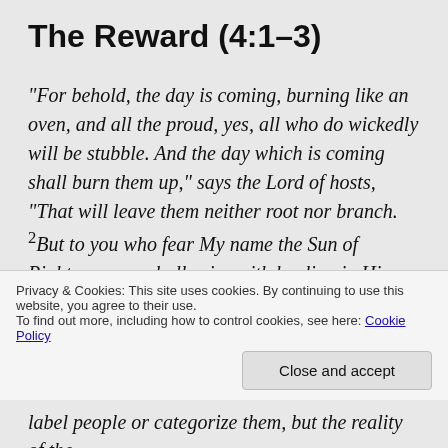The Reward (4:1–3)
“For behold, the day is coming, burning like an oven, and all the proud, yes, all who do wickedly will be stubble. And the day which is coming shall burn them up,” says the Lord of hosts, “That will leave them neither root nor branch. 2But to you who fear My name the Sun of Righteousness shall arise with healing in His wings; and you shall go out and grow fat like stall-fed calves. 3You shall trample the wicked, for they shall be ashes under the soles of your feet on
Privacy & Cookies: This site uses cookies. By continuing to use this website, you agree to their use.
To find out more, including how to control cookies, see here: Cookie Policy
Close and accept
label people or categorize them, but the reality of the